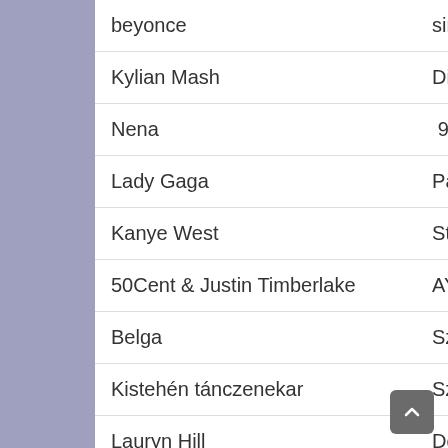| Artist | Song |
| --- | --- |
| beyonce | single ladies |
| Kylian Mash | Discobitch – C'est Beau La Bourgeoisie |
| Nena |  99 luftballons |
| Lady Gaga | Paparazzi |
| Kanye West | Stronger |
| 50Cent & Justin Timberlake | AYO Technology |
| Belga | Szerelmes vagyok én |
| Kistehén tánczenekar | Szájbergyerek |
| Lauryn Hill | Doo Wop |